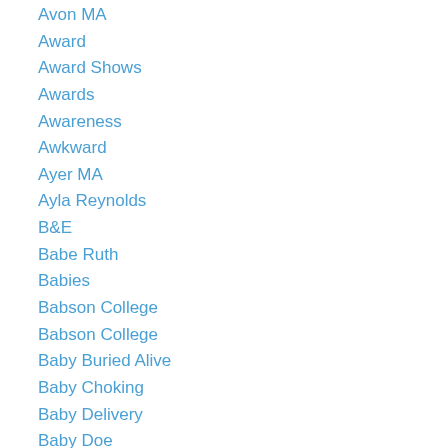Avon MA
Award
Award Shows
Awards
Awareness
Awkward
Ayer MA
Ayla Reynolds
B&E
Babe Ruth
Babies
Babson College
Babson College
Baby Buried Alive
Baby Choking
Baby Delivery
Baby Doe
Baby Food
baby gorilla
Baby Panda Cub